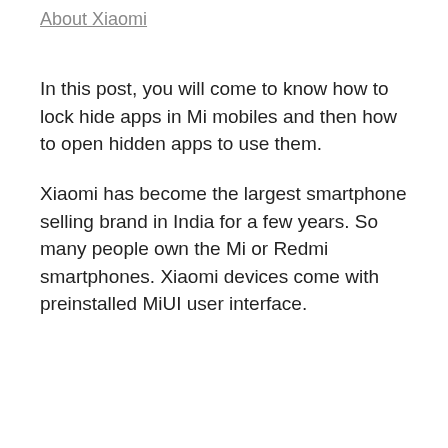About Xiaomi
In this post, you will come to know how to lock hide apps in Mi mobiles and then how to open hidden apps to use them.
Xiaomi has become the largest smartphone selling brand in India for a few years. So many people own the Mi or Redmi smartphones. Xiaomi devices come with preinstalled MiUI user interface.